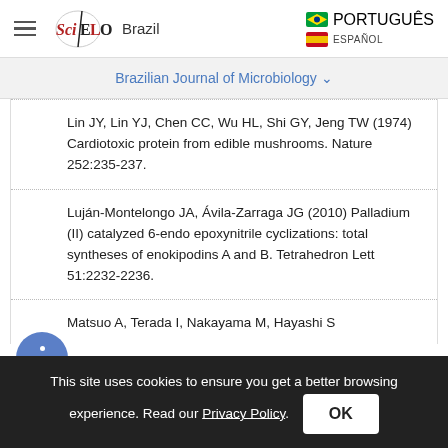SciELO Brazil | PORTUGUÊS | ESPAÑOL
Brazilian Journal of Microbiology
Lin JY, Lin YJ, Chen CC, Wu HL, Shi GY, Jeng TW (1974) Cardiotoxic protein from edible mushrooms. Nature 252:235-237.
Luján-Montelongo JA, Ávila-Zarraga JG (2010) Palladium (II) catalyzed 6-endo epoxynitrile cyclizations: total syntheses of enokipodins A and B. Tetrahedron Lett 51:2232-2236.
Matsuo A, Terada I, Nakayama M, Hayashi S
This site uses cookies to ensure you get a better browsing experience. Read our Privacy Policy.